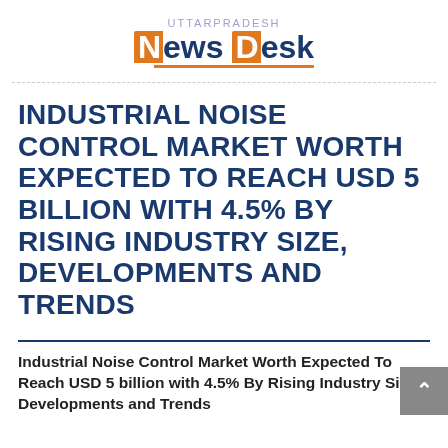[Figure (logo): Uttar Pradesh News Desk logo with orange accent blocks on N and D letters, blue text, and orange underline]
INDUSTRIAL NOISE CONTROL MARKET WORTH EXPECTED TO REACH USD 5 BILLION WITH 4.5% BY RISING INDUSTRY SIZE, DEVELOPMENTS AND TRENDS
Industrial Noise Control Market Worth Expected To Reach USD 5 billion with 4.5% By Rising Industry Size, Developments and Trends